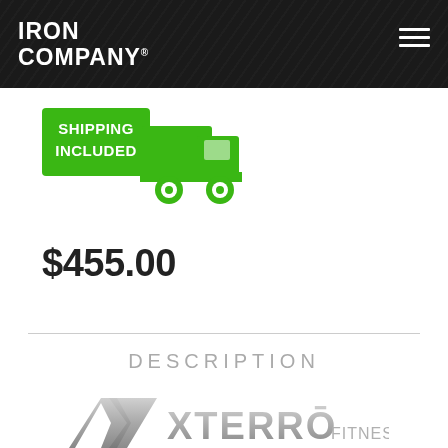IRON COMPANY
[Figure (illustration): Green shipping truck icon with text SHIPPING INCLUDED]
$455.00
DESCRIPTION
[Figure (logo): XTERRA Fitness logo in silver/grey]